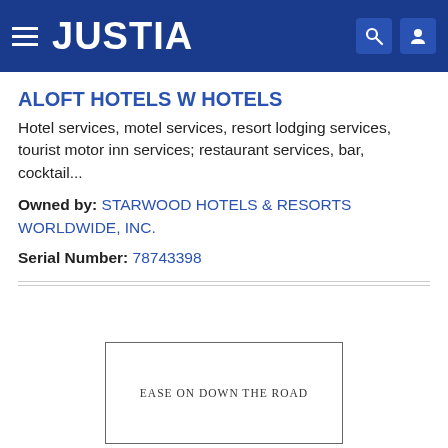JUSTIA
ALOFT HOTELS W HOTELS
Hotel services, motel services, resort lodging services, tourist motor inn services; restaurant services, bar, cocktail...
Owned by: STARWOOD HOTELS & RESORTS WORLDWIDE, INC.
Serial Number: 78743398
[Figure (other): Trademark image showing text 'EASE ON DOWN THE ROAD' inside a rectangular border]